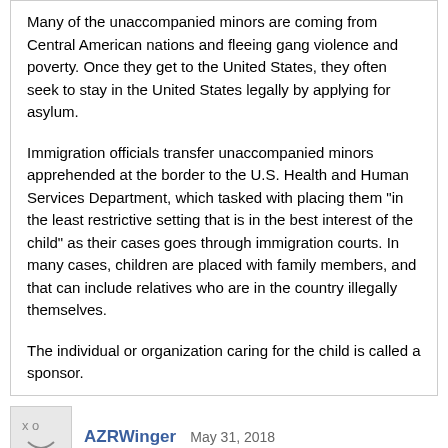Many of the unaccompanied minors are coming from Central American nations and fleeing gang violence and poverty. Once they get to the United States, they often seek to stay in the United States legally by applying for asylum.

Immigration officials transfer unaccompanied minors apprehended at the border to the U.S. Health and Human Services Department, which tasked with placing them "in the least restrictive setting that is in the best interest of the child" as their cases goes through immigration courts. In many cases, children are placed with family members, and that can include relatives who are in the country illegally themselves.

The individual or organization caring for the child is called a sponsor.
AZRWinger   May 31, 2018
saltwn wrote:
Picture or not this is the first president in modern times who has taken children away from their parents
That's not even close to accurate. When US parents are arrested their children are routinely separated either placed with relatives or taken by child protective services. This has been standard practice under many